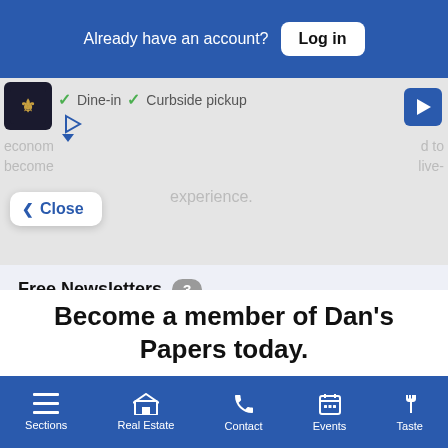Already have an account? Log in
[Figure (screenshot): Background restaurant page showing Dine-in and Curbside pickup options, partially visible behind modal overlay]
✓ Close
experience.
Become a member of Dan's Papers today.
Create your free custom profile to get newsletters and exclusive event invites.
Free Newsletters 3
Dan's Daily
Dan's Hamptons Insider
Sections  Real Estate  Contact  Events  Taste